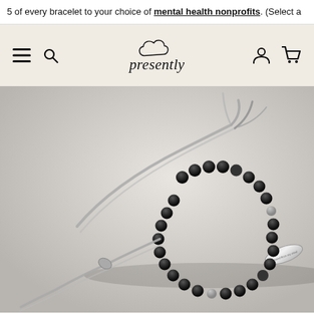5 of every bracelet to your choice of mental health nonprofits. (Select a
[Figure (screenshot): Navigation bar with hamburger menu, search icon, presently brand logo with cloud icon, user account icon, and shopping cart icon on a beige/cream background]
[Figure (photo): A black beaded bracelet with silver elements and a silver oval charm engraved with text, on a gray cord with adjustable slider, photographed on a light gray background]